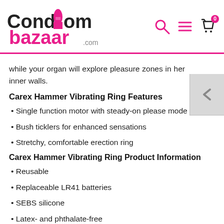CondomBazaar.com
while your organ will explore pleasure zones in her inner walls.
Carex Hammer Vibrating Ring Features
Single function motor with steady-on please mode
Bush ticklers for enhanced sensations
Stretchy, comfortable erection ring
Carex Hammer Vibrating Ring Product Information
Reusable
Replaceable LR41 batteries
SEBS silicone
Latex- and phthalate-free